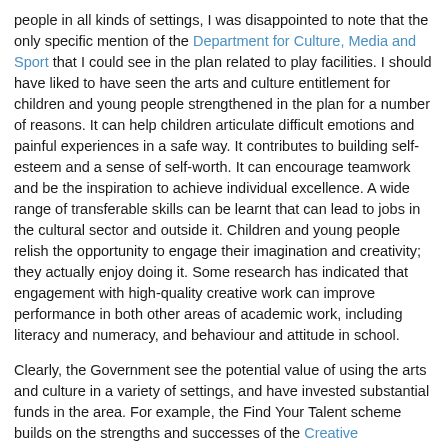people in all kinds of settings, I was disappointed to note that the only specific mention of the Department for Culture, Media and Sport that I could see in the plan related to play facilities. I should have liked to have seen the arts and culture entitlement for children and young people strengthened in the plan for a number of reasons. It can help children articulate difficult emotions and painful experiences in a safe way. It contributes to building self-esteem and a sense of self-worth. It can encourage teamwork and be the inspiration to achieve individual excellence. A wide range of transferable skills can be learnt that can lead to jobs in the cultural sector and outside it. Children and young people relish the opportunity to engage their imagination and creativity; they actually enjoy doing it. Some research has indicated that engagement with high-quality creative work can improve performance in both other areas of academic work, including literacy and numeracy, and behaviour and attitude in school.
Clearly, the Government see the potential value of using the arts and culture in a variety of settings, and have invested substantial funds in the area. For example, the Find Your Talent scheme builds on the strengths and successes of the Creative Partnerships programme. Creative Partnerships enabled high-quality participation in arts projects in schools in some of the most deprived areas in the country. Related to this subject, the Care Matters action plan describes a pilot scheme on